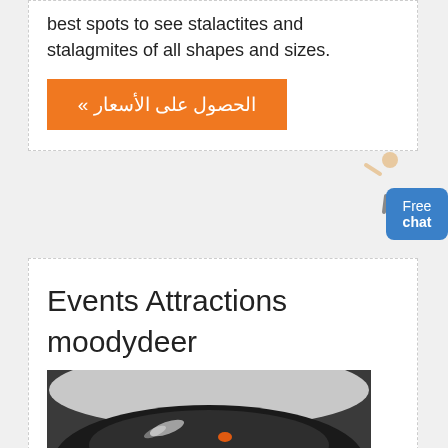best spots to see stalactites and stalagmites of all shapes and sizes.
[Figure (other): Orange button with Arabic text: الحصول على الأسعار »]
[Figure (illustration): Person figure (customer service representative) next to a blue 'Free chat' button]
Events Attractions moodydeer
[Figure (photo): Close-up photo of a dark surface with water spray or mist and a small orange element, likely a product or object being cleaned or demonstrated]